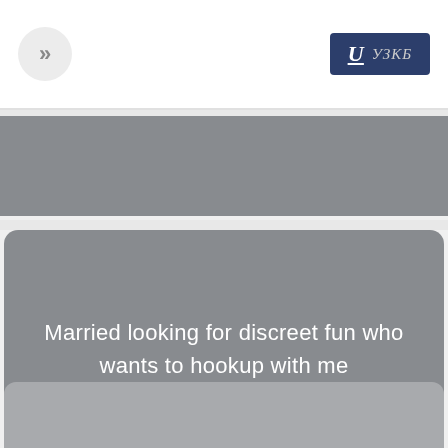>> | U УЗКБ
[Figure (screenshot): Gray card block at top of content area]
Married looking for discreet fun who wants to hookup with me
[Figure (screenshot): Gray card block at bottom of content area]